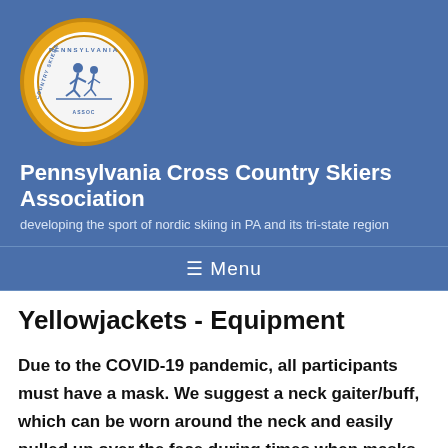[Figure (logo): Pennsylvania Cross Country Skiers Association circular logo with gold border, white inner circle, skier illustration and text around the rim]
Pennsylvania Cross Country Skiers Association
developing the sport of nordic skiing in PA and its tri-state region
≡ Menu
Yellowjackets - Equipment
Due to the COVID-19 pandemic, all participants must have a mask.  We suggest a neck gaiter/buff, which can be worn around the neck and easily pulled up over the face during times when masks must be worn.
Equipment (skis, boots, poles)